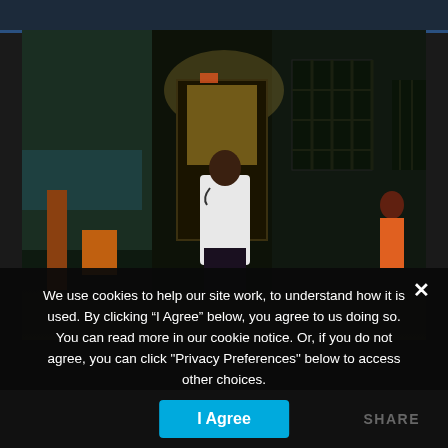[Figure (photo): A doctor or healthcare worker in a white coat walking down a dark hospital corridor, with barred windows on the right and dim lighting ahead.]
We use cookies to help our site work, to understand how it is used. By clicking “I Agree” below, you agree to us doing so. You can read more in our cookie notice. Or, if you do not agree, you can click "Privacy Preferences" below to access other choices.
› Privacy Preferences
I Agree
SHARE